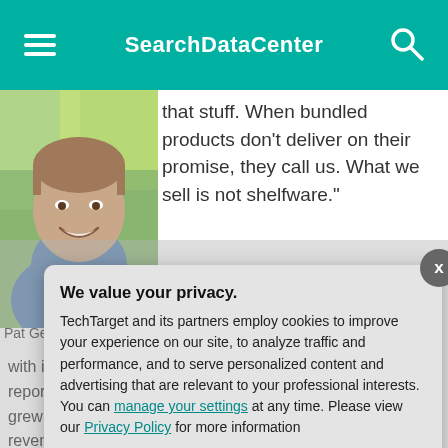SearchDataCenter
[Figure (photo): Photo of Pat Gelsinger, a man smiling, wearing a blue shirt, outdoors with green background]
Pat Gelsinger
that stuff. When bundled products don't deliver on their promise, they call us. What we sell is not shelfware."
with its vSAN HCI reported license grew 45% year-o revenue and bo parent Dell also Dell EMC VxRai software. Those market share ag better than expe disappointing pe software market
We value your privacy.
TechTarget and its partners employ cookies to improve your experience on our site, to analyze traffic and performance, and to serve personalized content and advertising that are relevant to your professional interests. You can manage your settings at any time. Please view our Privacy Policy for more information